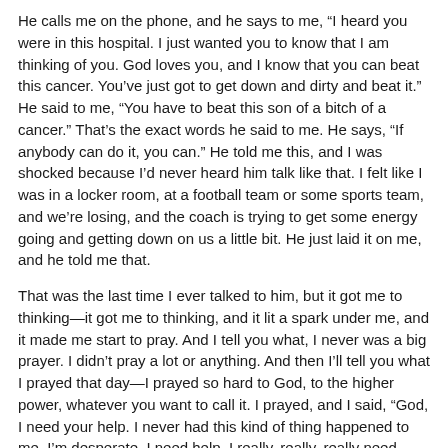He calls me on the phone, and he says to me, “I heard you were in this hospital. I just wanted you to know that I am thinking of you. God loves you, and I know that you can beat this cancer. You’ve just got to get down and dirty and beat it.” He said to me, “You have to beat this son of a bitch of a cancer.” That’s the exact words he said to me. He says, “If anybody can do it, you can.” He told me this, and I was shocked because I’d never heard him talk like that. I felt like I was in a locker room, at a football team or some sports team, and we’re losing, and the coach is trying to get some energy going and getting down on us a little bit. He just laid it on me, and he told me that.
That was the last time I ever talked to him, but it got me to thinking—it got me to thinking, and it lit a spark under me, and it made me start to pray. And I tell you what, I never was a big prayer. I didn’t pray a lot or anything. And then I’ll tell you what I prayed that day—I prayed so hard to God, to the higher power, whatever you want to call it. I prayed, and I said, “God, I need your help. I never had this kind of thing happened to me. I’m desperate. I need help. I really, really, really need your help.”
I felt like every cell in my body was praying. I never had that kind of feeling. It just was the strangest feeling. I’ve said a prayer, the kind of prayer where you’d go to church, and someone says a prayer. It is fancy sounding, and there’s nothing wrong with it, but it just didn’t seem to have a lot of deep meaning to it.
But I’m telling you that day, between me and the higher power, I had a prayer. I felt things that I can’t imagine. I can’t even explain it to anybody, but I did. I